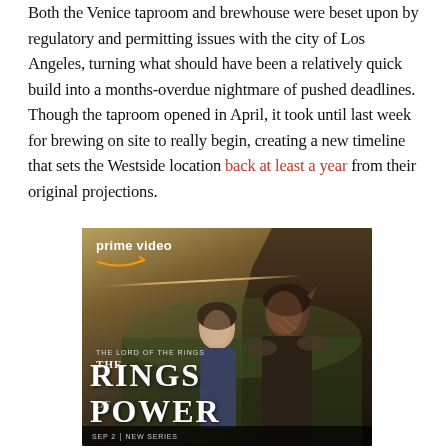Both the Venice taproom and brewhouse were beset upon by regulatory and permitting issues with the city of Los Angeles, turning what should have been a relatively quick build into a months-overdue nightmare of pushed deadlines. Though the taproom opened in April, it took until last week for brewing on site to really begin, creating a new timeline that sets the Westside location back at least a year from their original projections.
[Figure (photo): Amazon Prime Video advertisement for 'The Lord of the Rings: The Rings of Power' TV series, showing two fantasy characters (a large dark-skinned figure with pointed ears and a woman) against a dark dramatic background, with Prime Video logo and Amazon arrow at top left. Text reads 'THE LORD OF THE RINGS / THE / RINGS / OF / POWER' with 'SEP 2 | NEW SERIES' at bottom.]